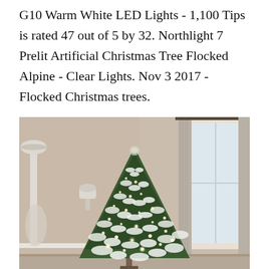G10 Warm White LED Lights - 1,100 Tips is rated 47 out of 5 by 32. Northlight 7 Prelit Artificial Christmas Tree Flocked Alpine - Clear Lights. Nov 3 2017 - Flocked Christmas trees.
[Figure (photo): A flocked artificial Christmas tree with warm white lights displayed in a beige-toned room with a wall sconce lamp, tall white floor lamp, and a window with grey curtain panels.]